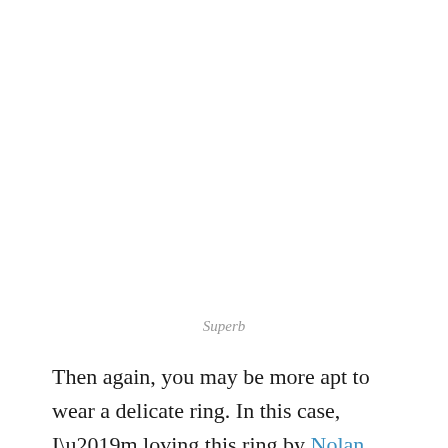Superb
Then again, you may be more apt to wear a delicate ring. In this case, I’m loving this ring by Nolan.